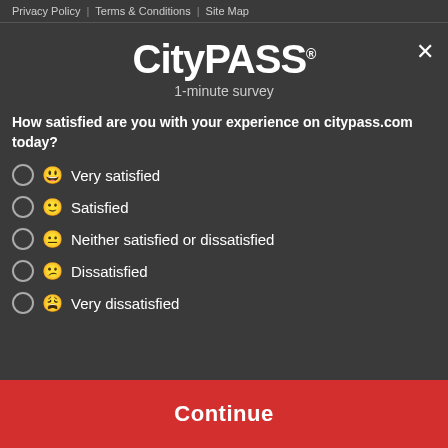Privacy Policy | Terms & Conditions | Site Map
CityPASS
1-minute survey
How satisfied are you with your experience on citypass.com today?
Very satisfied
Satisfied
Neither satisfied or dissatisfied
Dissatisfied
Very dissatisfied
Continue